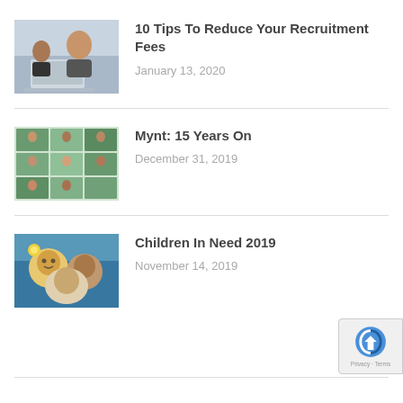[Figure (photo): Woman smiling at a laptop in an office setting]
10 Tips To Reduce Your Recruitment Fees
January 13, 2020
[Figure (photo): Collage of business people with green background]
Mynt: 15 Years On
December 31, 2019
[Figure (photo): Group of smiling people taking a selfie]
Children In Need 2019
November 14, 2019